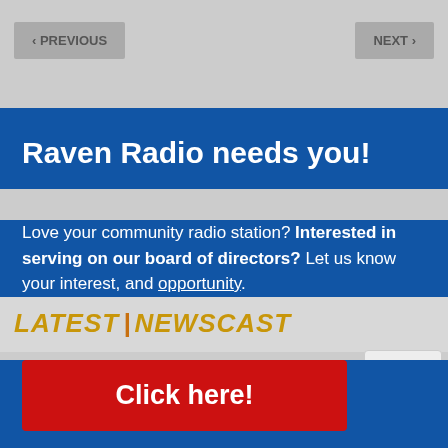[Figure (screenshot): Background webpage showing navigation buttons (< PREVIOUS and NEXT >) at the top, a LATEST | NEWSCAST section banner, and Community Calendar text at the bottom, with a reCAPTCHA widget at bottom right.]
Raven Radio needs you!
Love your community radio station? Interested in serving on our board of directors? Let us know your interest, and learn more about this opportunity.
Click here!